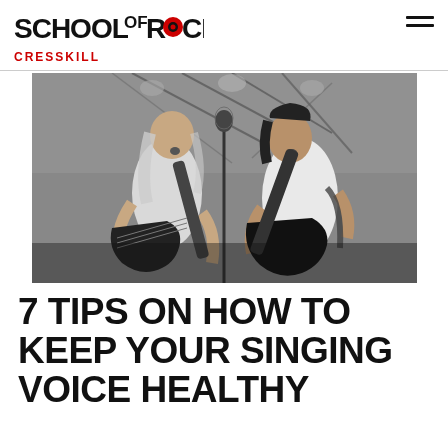SCHOOL OF ROCK — CRESSKILL
[Figure (photo): Black and white photo of two young performers on stage, both singing into microphones and playing electric guitars]
7 TIPS ON HOW TO KEEP YOUR SINGING VOICE HEALTHY